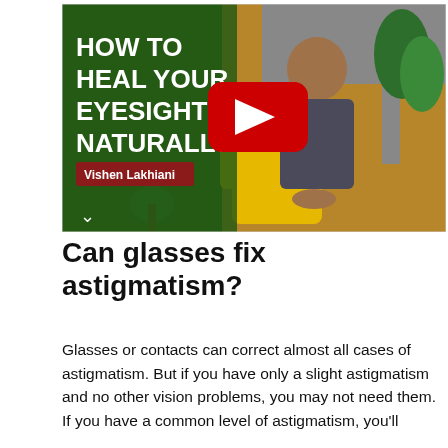[Figure (screenshot): YouTube video thumbnail showing a man sitting in a yellow chair. Text overlay reads 'HOW TO HEAL YOUR EYESIGHT NATURALLY' with a red YouTube play button in the center. A name tag reads 'Vishen Lakhiani'. Green background on the left, plant visible on the right.]
Can glasses fix astigmatism?
Glasses or contacts can correct almost all cases of astigmatism. But if you have only a slight astigmatism and no other vision problems, you may not need them. If you have a common level of astigmatism, you'll